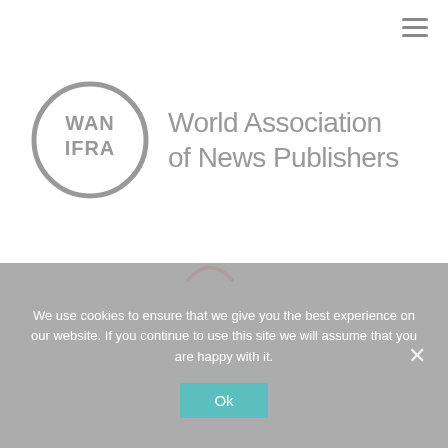[Figure (logo): WAN-IFRA logo: circular badge with WAN IFRA text alongside 'World Association of News Publishers' text in grey]
Log In
[Figure (other): Loading spinner arc in salmon/coral color]
We use cookies to ensure that we give you the best experience on our website. If you continue to use this site we will assume that you are happy with it.
Ok